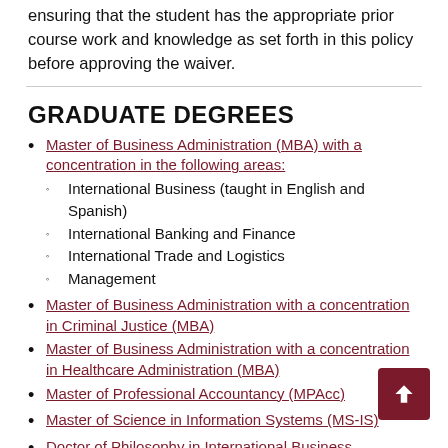ensuring that the student has the appropriate prior course work and knowledge as set forth in this policy before approving the waiver.
GRADUATE DEGREES
Master of Business Administration (MBA) with a concentration in the following areas:
International Business (taught in English and Spanish)
International Banking and Finance
International Trade and Logistics
Management
Master of Business Administration with a concentration in Criminal Justice (MBA)
Master of Business Administration with a concentration in Healthcare Administration (MBA)
Master of Professional Accountancy (MPAcc)
Master of Science in Information Systems (MS-IS)
Doctor of Philosophy in International Business Administration (Ph.D.-IB)
CERTIFICATE